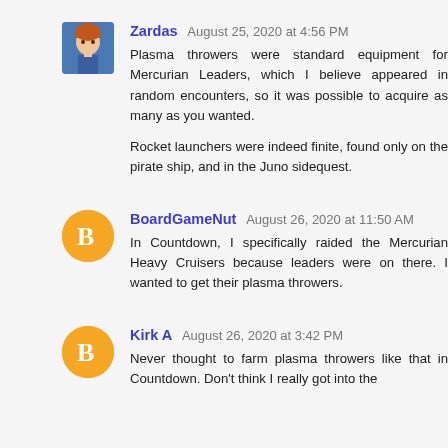Zardas  August 25, 2020 at 4:56 PM
Plasma throwers were standard equipment for Mercurian Leaders, which I believe appeared in random encounters, so it was possible to acquire as many as you wanted.

Rocket launchers were indeed finite, found only on the pirate ship, and in the Juno sidequest.
BoardGameNut  August 26, 2020 at 11:50 AM
In Countdown, I specifically raided the Mercurian Heavy Cruisers because leaders were on there. I wanted to get their plasma throwers.
Kirk A  August 26, 2020 at 3:42 PM
Never thought to farm plasma throwers like that in Countdown. Don't think I really got into the